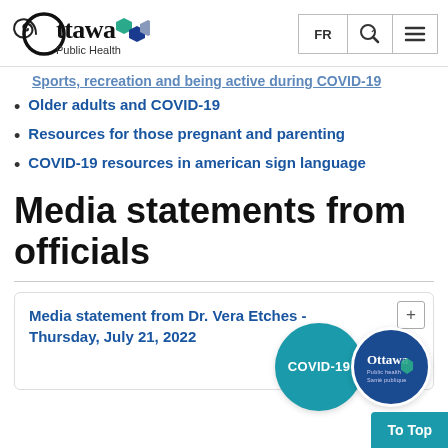Ottawa Public Health — FR | phone | menu
Sports, recreation and being active during COVID-19
Older adults and COVID-19
Resources for those pregnant and parenting
COVID-19 resources in american sign language
Media statements from officials
Media statement from Dr. Vera Etches - Thursday, July 21, 2022
Read the media statements from 2022, 2021 or 2…